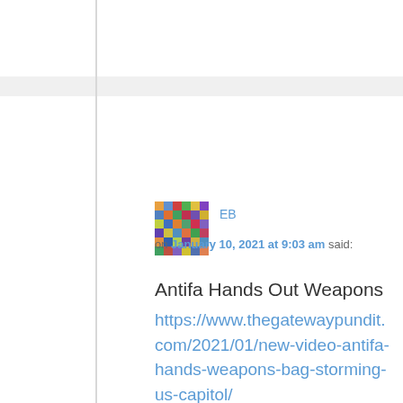[Figure (photo): User avatar image for commenter EB - colorful pixelated pattern]
EB
on January 10, 2021 at 9:03 am said:
Antifa Hands Out Weapons
https://www.thegatewaypundit.com/2021/01/new-video-antifa-hands-weapons-bag-storming-us-capitol/
Reply ↓
[Figure (photo): User avatar image for commenter EB - colorful pixelated pattern]
EB
on January 10, 2021 at 9:22 am